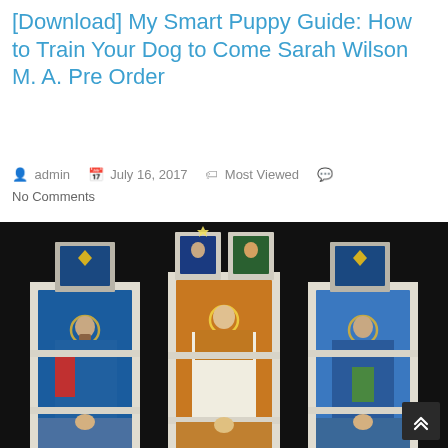[Download] My Smart Puppy Guide: How to Train Your Dog to Come Sarah Wilson M. A. Pre Order
admin   July 16, 2017   Most Viewed   No Comments
[Figure (photo): Stained glass window with three panels depicting religious figures with halos, ornate colorful glass in blues, reds, oranges, and yellows against a dark background]